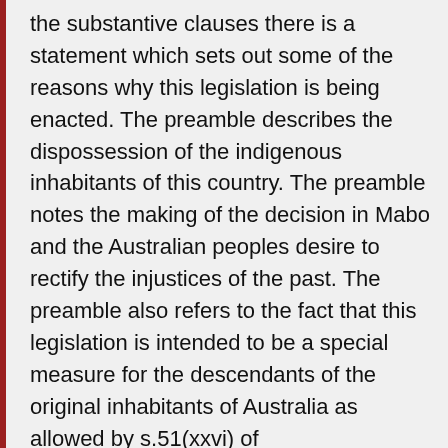the substantive clauses there is a statement which sets out some of the reasons why this legislation is being enacted. The preamble describes the dispossession of the indigenous inhabitants of this country. The preamble notes the making of the decision in Mabo and the Australian peoples desire to rectify the injustices of the past. The preamble also refers to the fact that this legislation is intended to be a special measure for the descendants of the original inhabitants of Australia as allowed by s.51(xxvi) of